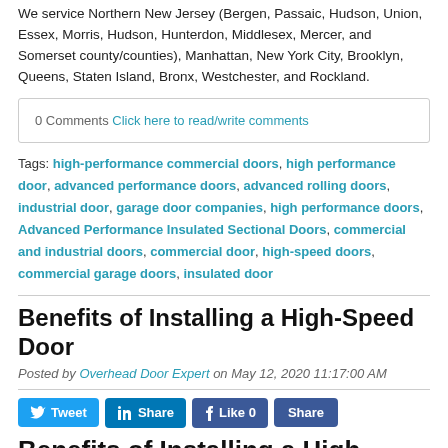We service Northern New Jersey (Bergen, Passaic, Hudson, Union, Essex, Morris, Hudson, Hunterdon, Middlesex, Mercer, and Somerset county/counties), Manhattan, New York City, Brooklyn, Queens, Staten Island, Bronx, Westchester, and Rockland.
0 Comments Click here to read/write comments
Tags: high-performance commercial doors, high performance door, advanced performance doors, advanced rolling doors, industrial door, garage door companies, high performance doors, Advanced Performance Insulated Sectional Doors, commercial and industrial doors, commercial door, high-speed doors, commercial garage doors, insulated door
Benefits of Installing a High-Speed Door
Posted by Overhead Door Expert on May 12, 2020 11:17:00 AM
Tweet Share Like 0 Share
Benefits of Installing a High-Speed Door